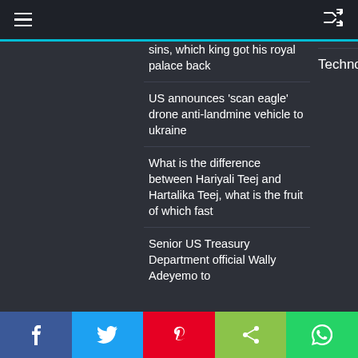Menu | Shuffle
sins, which king got his royal palace back
US announces 'scan eagle' drone anti-landmine vehicle to ukraine
What is the difference between Hariyali Teej and Hartalika Teej, what is the fruit of which fast
Senior US Treasury Department official Wally Adeyemo to
Technology
Facebook | Twitter | Pinterest | Share | WhatsApp